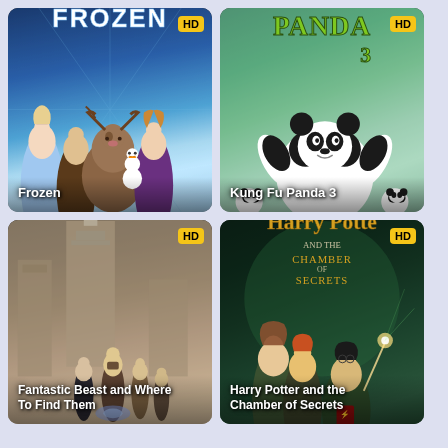[Figure (illustration): Movie poster for Frozen with animated characters, HD badge, title overlay]
[Figure (illustration): Movie poster for Kung Fu Panda 3 with animated panda, HD badge, title overlay]
[Figure (illustration): Movie poster for Fantastic Beast and Where To Find Them with live-action characters, HD badge, title overlay]
[Figure (illustration): Movie poster for Harry Potter and the Chamber of Secrets with characters, HD badge, title overlay]